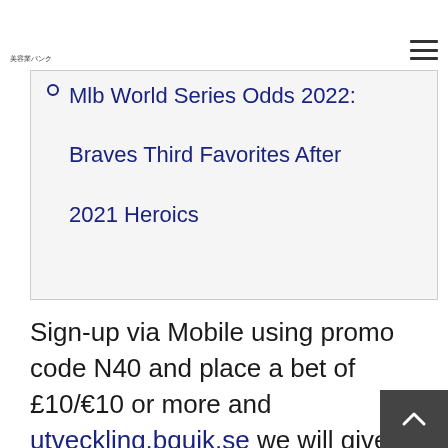美容業パンク [hamburger menu icon]
Mlb World Series Odds 2022: Braves Third Favorites After 2021 Heroics
Sign-up via Mobile using promo code N40 and place a bet of £10/€10 or more and utveckling.bquik.se we will give you 4x £10/€10 free bets. By entering the Promo code in the box above you agree to the full terms and conditions of this promotion as displayed below. If you've previously